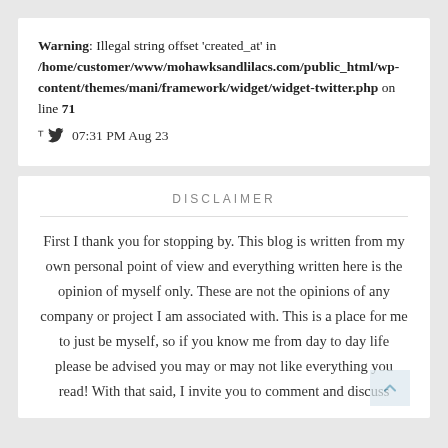Warning: Illegal string offset 'created_at' in /home/customer/www/mohawksandlilacs.com/public_html/wp-content/themes/mani/framework/widget/widget-twitter.php on line 71
07:31 PM Aug 23
DISCLAIMER
First I thank you for stopping by. This blog is written from my own personal point of view and everything written here is the opinion of myself only. These are not the opinions of any company or project I am associated with. This is a place for me to just be myself, so if you know me from day to day life please be advised you may or may not like everything you read! With that said, I invite you to comment and discuss